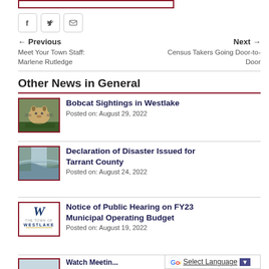[Figure (other): Input or search box outline (dark red border), partially visible at top]
[Figure (other): Social sharing buttons: Facebook (f), Twitter bird, Email (envelope)]
← Previous
Meet Your Town Staff: Marlene Rutledge
Next →
Census Takers Going Door-to-Door
Other News in General
[Figure (photo): Photo of a bobcat standing outdoors in green environment]
Bobcat Sightings in Westlake
Posted on: August 29, 2022
[Figure (photo): Photo of a flooded river or waterway with trees]
Declaration of Disaster Issued for Tarrant County
Posted on: August 24, 2022
[Figure (logo): The Town of Westlake logo with stylized W and text THE TOWN OF WESTLAKE]
Notice of Public Hearing on FY23 Municipal Operating Budget
Posted on: August 19, 2022
[Figure (other): Partial fourth news item image, cut off at bottom]
Partial news headline beginning with W, cut off at bottom
[Figure (other): Google Translate widget: G logo, Select Language, dropdown arrow]